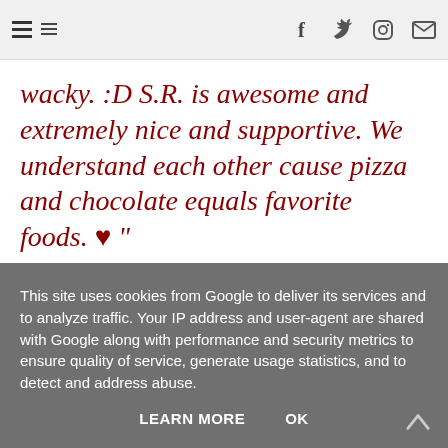[menu icon] [f] [twitter] [instagram] [email]
wacky. :D S.R. is awesome and extremely nice and supportive. We understand each other cause pizza and chocolate equals favorite foods. ♥ "
This site uses cookies from Google to deliver its services and to analyze traffic. Your IP address and user-agent are shared with Google along with performance and security metrics to ensure quality of service, generate usage statistics, and to detect and address abuse.
LEARN MORE   OK